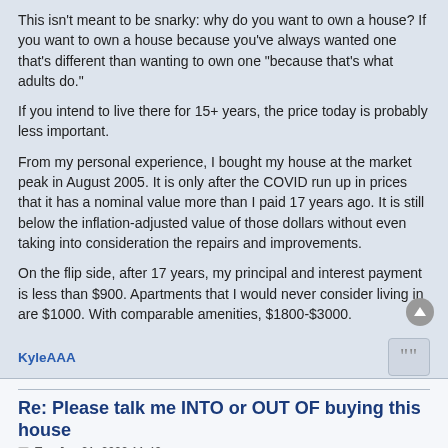This isn't meant to be snarky: why do you want to own a house? If you want to own a house because you've always wanted one that's different than wanting to own one "because that's what adults do."
If you intend to live there for 15+ years, the price today is probably less important.
From my personal experience, I bought my house at the market peak in August 2005. It is only after the COVID run up in prices that it has a nominal value more than I paid 17 years ago. It is still below the inflation-adjusted value of those dollars without even taking into consideration the repairs and improvements.
On the flip side, after 17 years, my principal and interest payment is less than $900. Apartments that I would never consider living in are $1000. With comparable amenities, $1800-$3000.
KyleAAA
Re: Please talk me INTO or OUT OF buying this house
Tue Jun 21, 2022 11:42 am
It seems like your judgement of home values is out of sync with the market. You could wait for the market to decrease and risk losing out on